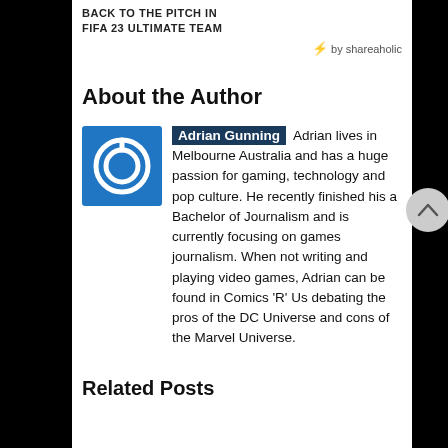BACK TO THE PITCH IN FIFA 23 ULTIMATE TEAM
⚡ by shareaholic
About the Author
Adrian Gunning Adrian lives in Melbourne Australia and has a huge passion for gaming, technology and pop culture. He recently finished his a Bachelor of Journalism and is currently focusing on games journalism. When not writing and playing video games, Adrian can be found in Comics 'R' Us debating the pros of the DC Universe and cons of the Marvel Universe.
Related Posts